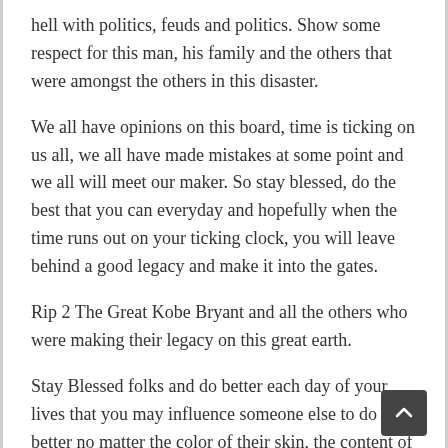hell with politics, feuds and politics. Show some respect for this man, his family and the others that were amongst the others in this disaster.
We all have opinions on this board, time is ticking on us all, we all have made mistakes at some point and we all will meet our maker. So stay blessed, do the best that you can everyday and hopefully when the time runs out on your ticking clock, you will leave behind a good legacy and make it into the gates.
Rip 2 The Great Kobe Bryant and all the others who were making their legacy on this great earth.
Stay Blessed folks and do better each day of your lives that you may influence someone else to do better no matter the color of their skin, the content of their character or what wrongs they may have done in the past.
Only god can judge us when the clock has run out. Will you be ready, when it hits that final second and your existence is no more.